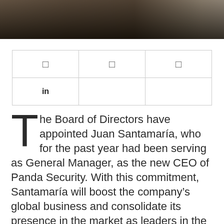[Figure (photo): Dark photo strip showing a blurred office environment with wooden floor and a chair, cropped at the top of the page.]
| ☐ | ☐ | ☐ |
| in |  |  |
The Board of Directors have appointed Juan Santamaría, who for the past year had been serving as General Manager, as the new CEO of Panda Security. With this commitment, Santamaría will boost the company's global business and consolidate its presence in the market as leaders in the sector of cloud-based advanced cybersecurity solutions.